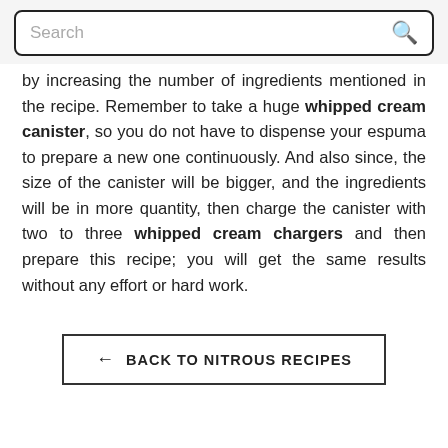Search
by increasing the number of ingredients mentioned in the recipe. Remember to take a huge whipped cream canister, so you do not have to dispense your espuma to prepare a new one continuously. And also since, the size of the canister will be bigger, and the ingredients will be in more quantity, then charge the canister with two to three whipped cream chargers and then prepare this recipe; you will get the same results without any effort or hard work.
← BACK TO NITROUS RECIPES
INFORMATION
Contact Us